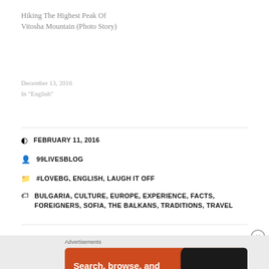Hiking The Highest Peak Of Vitosha Mountain (Photo Story)
December 13, 2016
In "English"
FEBRUARY 11, 2016
99LIVESBLOG
#LOVEBG, ENGLISH, LAUGH IT OFF
BULGARIA, CULTURE, EUROPE, EXPERIENCE, FACTS, FOREIGNERS, SOFIA, THE BALKANS, TRADITIONS, TRAVEL
[Figure (screenshot): DuckDuckGo advertisement banner with orange background showing: 'Search, browse, and email with more privacy. All in One Free App' with a phone image and DuckDuckGo logo]